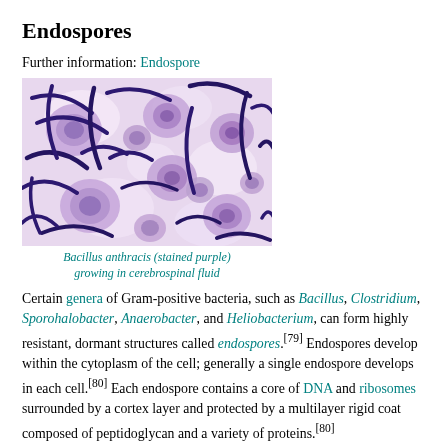Endospores
Further information: Endospore
[Figure (photo): Microscope image of Bacillus anthracis (stained purple) growing in cerebrospinal fluid. Shows large purple-stained rod-shaped bacteria among round purple-stained spores on a light background.]
Bacillus anthracis (stained purple) growing in cerebrospinal fluid
Certain genera of Gram-positive bacteria, such as Bacillus, Clostridium, Sporohalobacter, Anaerobacter, and Heliobacterium, can form highly resistant, dormant structures called endospores.[79] Endospores develop within the cytoplasm of the cell; generally a single endospore develops in each cell.[80] Each endospore contains a core of DNA and ribosomes surrounded by a cortex layer and protected by a multilayer rigid coat composed of peptidoglycan and a variety of proteins.[80]